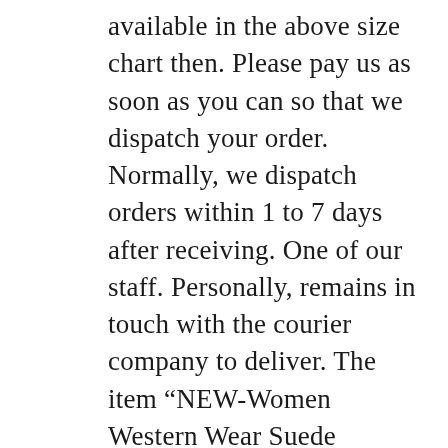available in the above size chart then. Please pay us as soon as you can so that we dispatch your order. Normally, we dispatch orders within 1 to 7 days after receiving. One of our staff. Personally, remains in touch with the courier company to deliver. The item “NEW-Women Western Wear Suede Leather Brown Fringe Native American Jacket, Coat” is in sale since Thursday, June 4, 2020. This item is in the category “Clothing, Shoes & Accessories\Women\Women’s Clothing\Coats, Jackets & Vests”. The seller is “leatherregel” and is located in saint louis missouri. This item can be shipped worldwide.